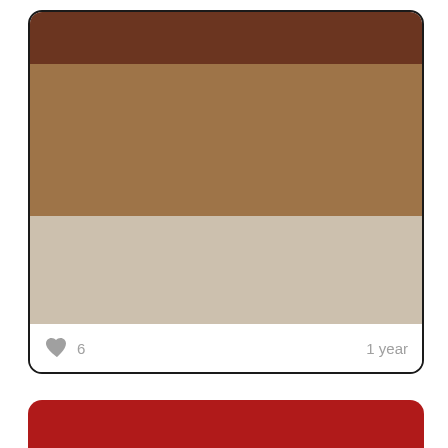[Figure (infographic): Color palette card with three horizontal color swatches: dark brown at top, medium tan/brown in middle, and light beige below. White footer area with a gray heart icon, the number 6, and '1 year' text on the right.]
[Figure (infographic): Partial color palette card showing the top portion in deep red/crimson color, with rounded corners visible.]